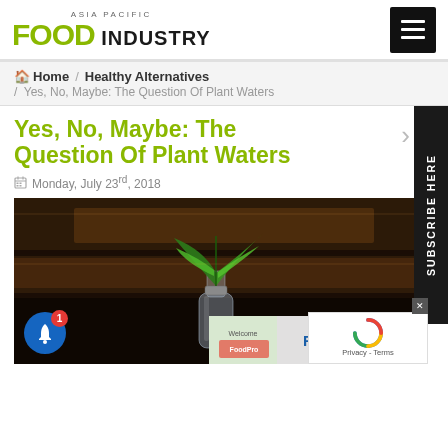ASIA PACIFIC FOOD INDUSTRY
Home / Healthy Alternatives / Yes, No, Maybe: The Question Of Plant Waters
Yes, No, Maybe: The Question Of Plant Waters
Monday, July 23rd, 2018
[Figure (photo): A clear glass bottle with a green plant leaf sprouting from it, placed on a dark wooden surface, symbolizing plant waters.]
SUBSCRIBE HERE
FHA 2022